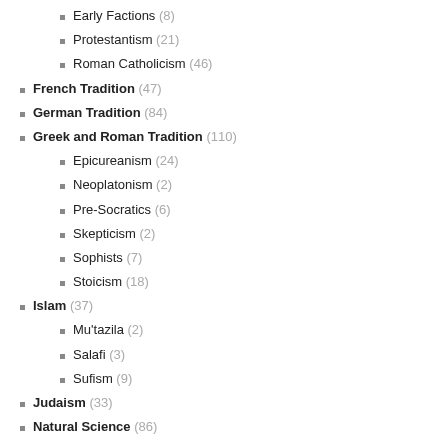Early Factions (8)
Protestantism (21)
Roman Catholicism (46)
French Tradition (47)
German Tradition (84)
Greek and Roman Tradition (110)
Epicureanism (24)
Neoplatonism (2)
Pre-Socratics (6)
Skepticism (2)
Sophists (7)
Stoicism (18)
Islam (37)
Mu'tazila (2)
Salafi (3)
Sufism (9)
Judaism (33)
Natural Science (86)